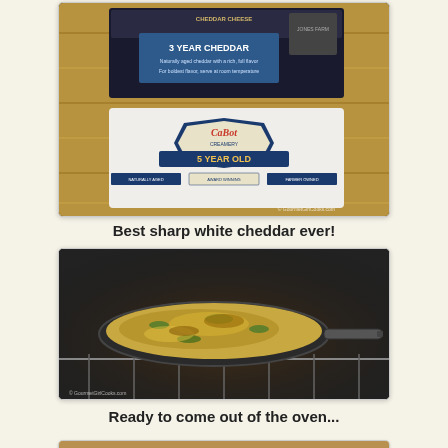[Figure (photo): Two blocks of white cheddar cheese on a wooden cutting board. Top block is a dark-packaged '3 Year Cheddar'. Bottom block is Cabot brand '5 Year Old Cheddar Cheese' in white packaging with blue label.]
Best sharp white cheddar ever!
[Figure (photo): A cast iron skillet with a frittata or egg dish, topped with melted cheese and herbs, sitting on the rack inside an oven. Watermark reads: © GourmetGirlCooks.com]
Ready to come out of the oven...
[Figure (photo): Partial view of a third photo card at the bottom of the page, appearing to show a food dish on a wooden surface.]